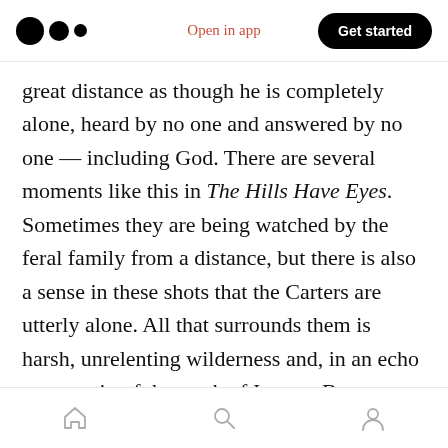Open in app | Get started
great distance as though he is completely alone, heard by no one and answered by no one — including God. There are several moments like this in The Hills Have Eyes. Sometimes they are being watched by the feral family from a distance, but there is also a sense in these shots that the Carters are utterly alone. All that surrounds them is harsh, unrelenting wilderness and, in an echo once again of the work of Ingmar Bergman, the unbearable silence of God.
In its original version, the last two sequences of the film were reversed with the film climaxing —
Home | Search | Profile